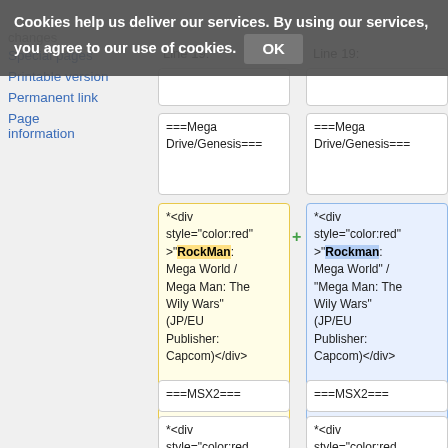Cookies help us deliver our services. By using our services, you agree to our use of cookies. OK
changes
Special pages
Printable version
Permanent link
Page information
Line 19:
Line 19:
===Mega Drive/Genesis===
===Mega Drive/Genesis===
*<div style="color:red" >"RockMan: Mega World / Mega Man: The Wily Wars" (JP/EU Publisher: Capcom)</div>
*<div style="color:red" >"Rockman: Mega World" / "Mega Man: The Wily Wars" (JP/EU Publisher: Capcom)</div>
===MSX2===
===MSX2===
*<div style="color:red"
*<div style="color:red"